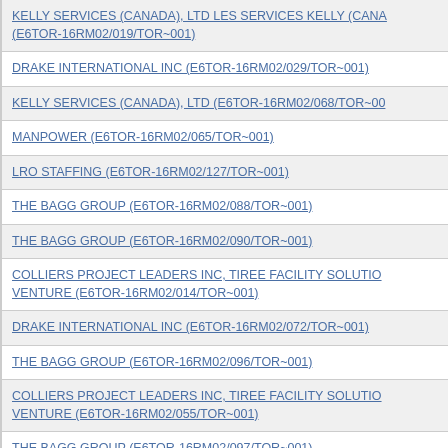KELLY SERVICES (CANADA), LTD LES SERVICES KELLY (CANA (E6TOR-16RM02/019/TOR~001)
DRAKE INTERNATIONAL INC (E6TOR-16RM02/029/TOR~001)
KELLY SERVICES (CANADA), LTD (E6TOR-16RM02/068/TOR~00
MANPOWER (E6TOR-16RM02/065/TOR~001)
LRO STAFFING (E6TOR-16RM02/127/TOR~001)
THE BAGG GROUP (E6TOR-16RM02/088/TOR~001)
THE BAGG GROUP (E6TOR-16RM02/090/TOR~001)
COLLIERS PROJECT LEADERS INC, TIREE FACILITY SOLUTIO VENTURE (E6TOR-16RM02/014/TOR~001)
DRAKE INTERNATIONAL INC (E6TOR-16RM02/072/TOR~001)
THE BAGG GROUP (E6TOR-16RM02/096/TOR~001)
COLLIERS PROJECT LEADERS INC, TIREE FACILITY SOLUTIO VENTURE (E6TOR-16RM02/055/TOR~001)
THE BAGG GROUP (E6TOR-16RM02/097/TOR~001)
COLLIERS PROJECT LEADERS INC, TIREE FACILITY SOLUTIO VENTURE (E6TOR-16RM02/061/TOR~001)